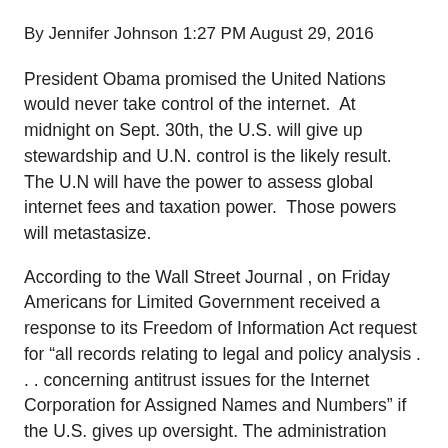By Jennifer Johnson 1:27 PM August 29, 2016
President Obama promised the United Nations would never take control of the internet.  At midnight on Sept. 30th, the U.S. will give up stewardship and U.N. control is the likely result.  The U.N will have the power to assess global internet fees and taxation power.  Those powers will metastasize.
According to the Wall Street Journal , on Friday Americans for Limited Government received a response to its Freedom of Information Act request for “all records relating to legal and policy analysis . . . concerning antitrust issues for the Internet Corporation for Assigned Names and Numbers” if the U.S. gives up oversight. The administration replied it had “conducted a thorough search for responsive records within its possession and control and found no records responsive to your request.”
It’s shocking the administration admits it has no plan for how Icann retains its antitrust exemption. The reason Icann can operate the entire World Wide Web root zone is that it has